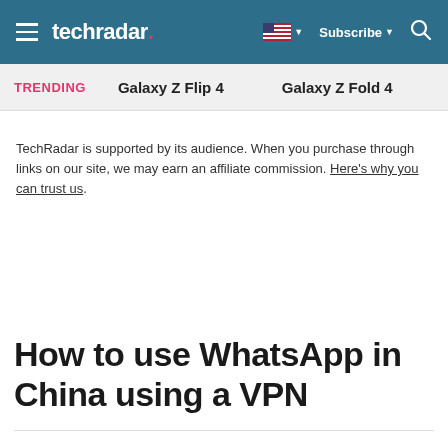techradar — Subscribe
TRENDING   Galaxy Z Flip 4   Galaxy Z Fold 4
TechRadar is supported by its audience. When you purchase through links on our site, we may earn an affiliate commission. Here's why you can trust us.
How to use WhatsApp in China using a VPN